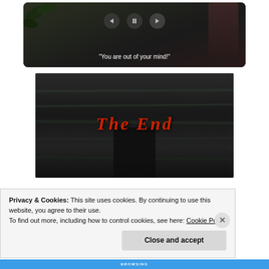[Figure (screenshot): Video player showing a person with subtitle text: "You are out of your mind!"]
[Figure (screenshot): Movie end screen with dark background and red italic text reading 'THE END']
Privacy & Cookies: This site uses cookies. By continuing to use this website, you agree to their use.
To find out more, including how to control cookies, see here: Cookie Policy
Close and accept